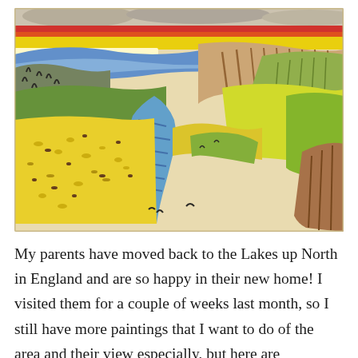[Figure (illustration): A colorful watercolor/crayon painting of a scenic landscape in the Lake District, England. Features a rainbow sky at the top with red, yellow, and blue bands, rolling green and yellow hills, blue mountains in the distance, a blue river or lake winding through the valley, and textured fields with visible brushstrokes and crayon marks.]
My parents have moved back to the Lakes up North in England and are so happy in their new home! I visited them for a couple of weeks last month, so I still have more paintings that I want to do of the area and their view especially, but here are